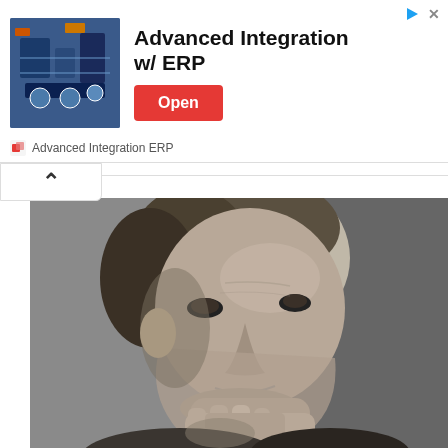[Figure (screenshot): Advertisement banner for Advanced Integration w/ ERP with a machinery image and an Open button]
Advanced Integration ERP
[Figure (photo): Black and white portrait photograph of a man with his hand raised to his chin in a thoughtful pose]